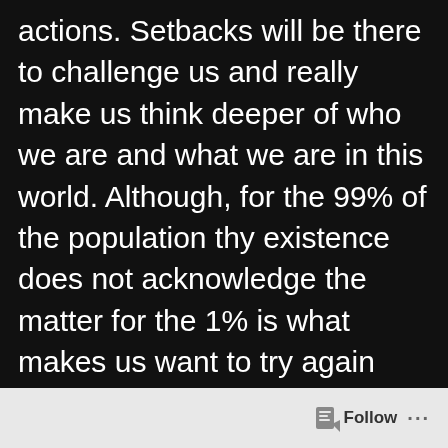actions. Setbacks will be there to challenge us and really make us think deeper of who we are and what we are in this world. Although, for the 99% of the population thy existence does not acknowledge the matter for the 1% is what makes us want to try again and challenge all the nos until finally, we get to the path we all dreamt off. So the setbacks have truly helped me to
Follow ···